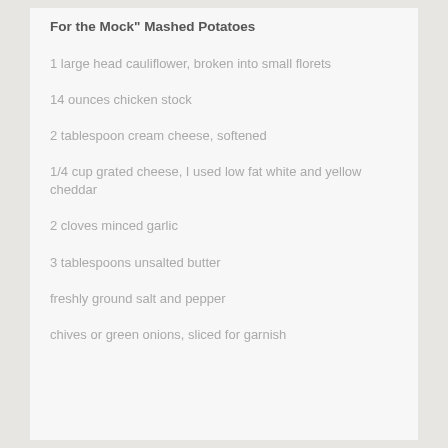For the Mock" Mashed Potatoes
1 large head cauliflower, broken into small florets
14 ounces chicken stock
2 tablespoon cream cheese, softened
1/4 cup grated cheese, I used low fat white and yellow cheddar
2 cloves minced garlic
3 tablespoons unsalted butter
freshly ground salt and pepper
chives or green onions, sliced for garnish